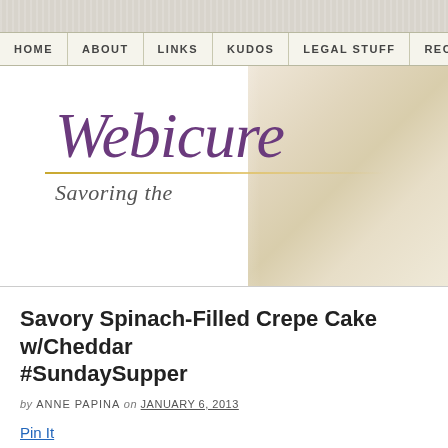HOME | ABOUT | LINKS | KUDOS | LEGAL STUFF | RECIPE
[Figure (logo): Webicure logo with purple italic text and tagline 'Savoring the...' in script font, with food photo background on right]
Savory Spinach-Filled Crepe Cake w/Cheddar #SundaySupper
by ANNE PAPINA on JANUARY 6, 2013
Pin It